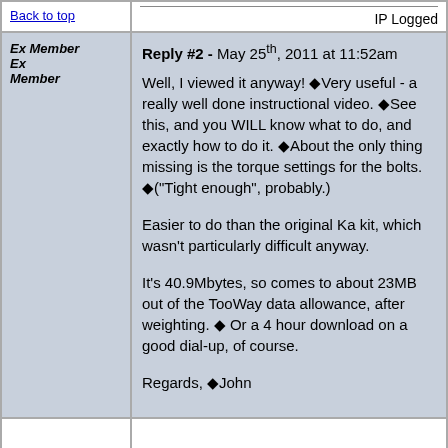Back to top
IP Logged
Ex Member Ex Member
Reply #2 - May 25th, 2011 at 11:52am
Well, I viewed it anyway! �Very useful - a really well done instructional video. �See this, and you WILL know what to do, and exactly how to do it. �About the only thing missing is the torque settings for the bolts. �("Tight enough", probably.)
Easier to do than the original Ka kit, which wasn't particularly difficult anyway.
It's 40.9Mbytes, so comes to about 23MB out of the TooWay data allowance, after weighting. � Or a 4 hour download on a good dial-up, of course.
Regards, �John
IP Logged